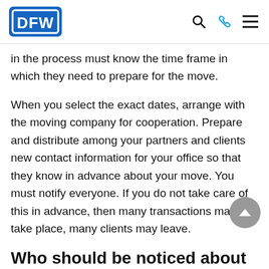DFW [logo with search, phone, menu icons]
in the process must know the time frame in which they need to prepare for the move.
When you select the exact dates, arrange with the moving company for cooperation. Prepare and distribute among your partners and clients new contact information for your office so that they know in advance about your move. You must notify everyone. If you do not take care of this in advance, then many transactions may not take place, many clients may leave.
Who should be noticed about